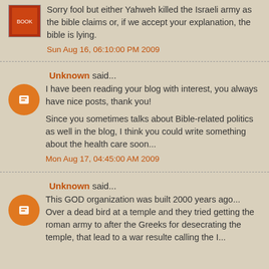Sorry fool but either Yahweh killed the Israeli army as the bible claims or, if we accept your explanation, the bible is lying.
Sun Aug 16, 06:10:00 PM 2009
Unknown said...
I have been reading your blog with interest, you always have nice posts, thank you!
Since you sometimes talks about Bible-related politics as well in the blog, I think you could write something about the health care soon...
Mon Aug 17, 04:45:00 AM 2009
Unknown said...
This GOD organization was built 2000 years ago... Over a dead bird at a temple and they tried getting the roman army to after the Greeks for desecrating the temple, that lead to a war resulte calling the I...